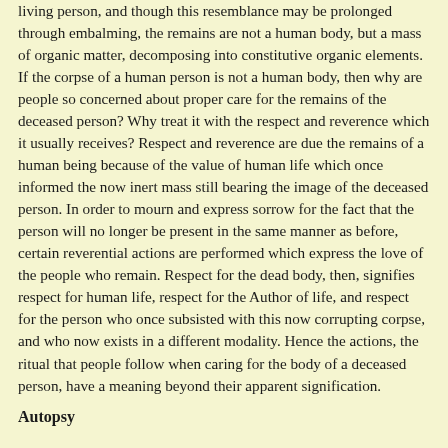living person, and though this resemblance may be prolonged through embalming, the remains are not a human body, but a mass of organic matter, decomposing into constitutive organic elements. If the corpse of a human person is not a human body, then why are people so concerned about proper care for the remains of the deceased person? Why treat it with the respect and reverence which it usually receives? Respect and reverence are due the remains of a human being because of the value of human life which once informed the now inert mass still bearing the image of the deceased person. In order to mourn and express sorrow for the fact that the person will no longer be present in the same manner as before, certain reverential actions are performed which express the love of the people who remain. Respect for the dead body, then, signifies respect for human life, respect for the Author of life, and respect for the person who once subsisted with this now corrupting corpse, and who now exists in a different modality. Hence the actions, the ritual that people follow when caring for the body of a deceased person, have a meaning beyond their apparent signification.
Autopsy